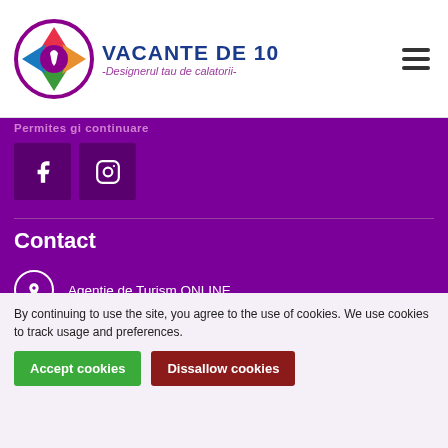VACANTE DE 10 - Designerul tau de calatorii-
[Figure (logo): Vacante de 10 travel agency logo with compass icon]
Contact
Agentie de Turism ONLINE
Luni-Vineri: 09:00 - 18:00
Sambata: Închis
Duminica: Închis
office@vacantede10.ro
By continuing to use the site, you agree to the use of cookies. We use cookies to track usage and preferences.
Accept cookies
Dissallow cookies